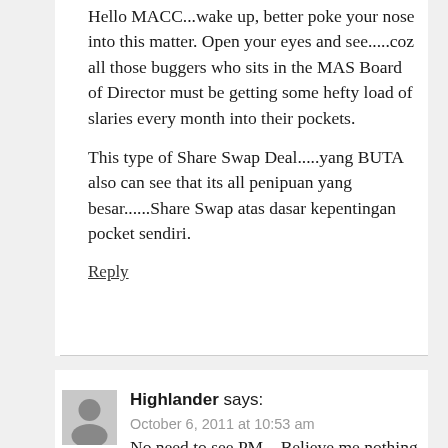Hello MACC...wake up, better poke your nose into this matter. Open your eyes and see.....coz all those buggers who sits in the MAS Board of Director must be getting some hefty load of slaries every month into their pockets.
This type of Share Swap Deal.....yang BUTA also can see that its all penipuan yang besar......Share Swap atas dasar kepentingan pocket sendiri.
Reply
Highlander says:
October 6, 2011 at 10:53 am
No need to see PM... Believe me nothing